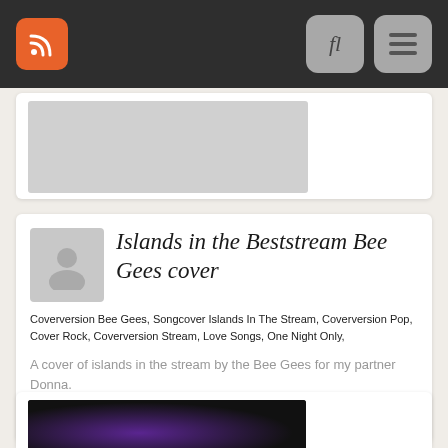Navigation bar with RSS icon, search and menu buttons
[Figure (photo): Partially visible card with a gray thumbnail image at the top]
Islands in the Beststream Bee Gees cover
Coverversion Bee Gees, Songcover Islands In The Stream, Coverversion Pop, Cover Rock, Coverversion Stream, Love Songs, One Night Only,
A cover of islands in the stream by the Bee Gees for my partner Donna.
0
[Figure (photo): Partially visible card at the bottom with a dark thumbnail image with purple light effect]